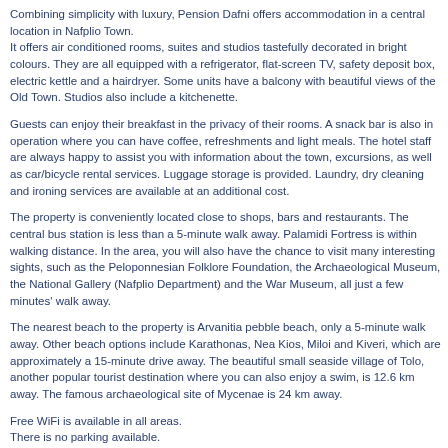Combining simplicity with luxury, Pension Dafni offers accommodation in a central location in Nafplio Town.
It offers air conditioned rooms, suites and studios tastefully decorated in bright colours. They are all equipped with a refrigerator, flat-screen TV, safety deposit box, electric kettle and a hairdryer. Some units have a balcony with beautiful views of the Old Town. Studios also include a kitchenette.
Guests can enjoy their breakfast in the privacy of their rooms. A snack bar is also in operation where you can have coffee, refreshments and light meals. The hotel staff are always happy to assist you with information about the town, excursions, as well as car/bicycle rental services. Luggage storage is provided. Laundry, dry cleaning and ironing services are available at an additional cost.
The property is conveniently located close to shops, bars and restaurants. The central bus station is less than a 5-minute walk away. Palamidi Fortress is within walking distance. In the area, you will also have the chance to visit many interesting sights, such as the Peloponnesian Folklore Foundation, the Archaeological Museum, the National Gallery (Nafplio Department) and the War Museum, all just a few minutes' walk away.
The nearest beach to the property is Arvanitia pebble beach, only a 5-minute walk away. Other beach options include Karathonas, Nea Kios, Miloi and Kiveri, which are approximately a 15-minute drive away. The beautiful small seaside village of Tolo, another popular tourist destination where you can also enjoy a swim, is 12.6 km away. The famous archaeological site of Mycenae is 24 km away.
Free WiFi is available in all areas.
There is no parking available.
Pets are not allowed.
Additional Information